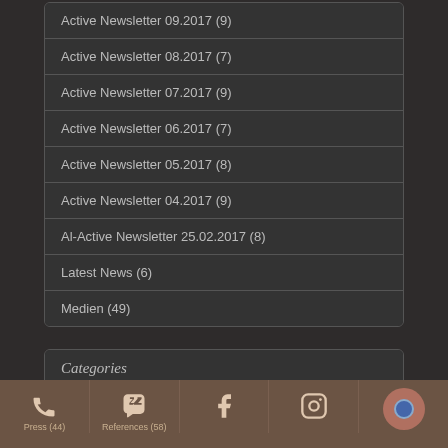Active Newsletter 09.2017 (9)
Active Newsletter 08.2017 (7)
Active Newsletter 07.2017 (9)
Active Newsletter 06.2017 (7)
Active Newsletter 05.2017 (8)
Active Newsletter 04.2017 (9)
Al-Active Newsletter 25.02.2017 (8)
Latest News (6)
Medien (49)
Categories
Active Videos (4)
Latest News (639)
Press (44)
References (58)